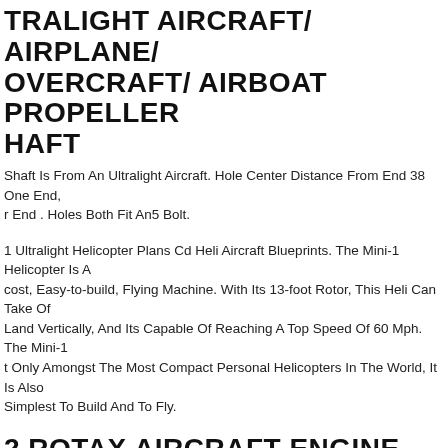ULTRALIGHT AIRCRAFT/ AIRPLANE/ HOVERCRAFT/ AIRBOAT PROPELLER SHAFT
Shaft Is From An Ultralight Aircraft. Hole Center Distance From End 38 One End, r End . Holes Both Fit An5 Bolt.
1 Ultralight Helicopter Plans Cd Heli Aircraft Blueprints. The Mini-1 Helicopter Is A cost, Easy-to-build, Flying Machine. With Its 13-foot Rotor, This Heli Can Take Off Land Vertically, And Its Capable Of Reaching A Top Speed Of 60 Mph. The Mini-1 t Only Amongst The Most Compact Personal Helicopters In The World, It Is Also Simplest To Build And To Fly.
2 ROTAX AIRCRAFT ENGINE TOP END GASKET SET ULTRALIGHT GASKETS
x 912 / 914 Cylinder Ultralight Aircraft. Rotax 912 914 Cylinder Ultralight Aircraft. Condition More Available Message Me For More Information
x 912 A F Ul Spark Plug X 8 Ngk Dcpr7e 897255 Engine Aircraft Ultralight. gated Ribs Prevent Flashover. Ngk's Standard Plugs Are Constructed For Longer